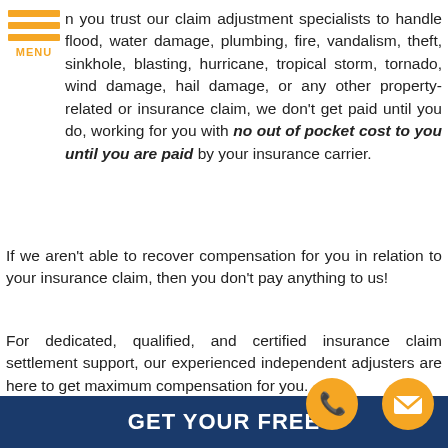[Figure (logo): Orange hamburger menu icon with three horizontal bars and MENU label]
n you trust our claim adjustment specialists to handle flood, water damage, plumbing, fire, vandalism, theft, sinkhole, blasting, hurricane, tropical storm, tornado, wind damage, hail damage, or any other property-related or insurance claim, we don't get paid until you do, working for you with no out of pocket cost to you until you are paid by your insurance carrier.
If we aren't able to recover compensation for you in relation to your insurance claim, then you don't pay anything to us!
For dedicated, qualified, and certified insurance claim settlement support, our experienced independent adjusters are here to get maximum compensation for you.
Contact our office today at (813) 737-7326 or complete the form below to speak with one of our qualified Balm Independent Claims Adjusters about your claim.
[Figure (infographic): Dark blue banner with white bold text reading GET YOUR FREE and two circular icons: a gold phone icon and a gold email/envelope icon]